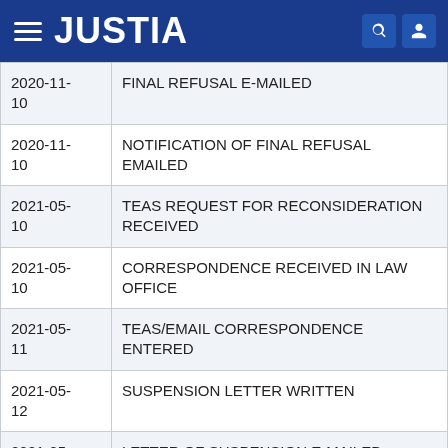JUSTIA
| Date | Event |
| --- | --- |
| 2020-11-10 | FINAL REFUSAL E-MAILED |
| 2020-11-10 | NOTIFICATION OF FINAL REFUSAL EMAILED |
| 2021-05-10 | TEAS REQUEST FOR RECONSIDERATION RECEIVED |
| 2021-05-10 | CORRESPONDENCE RECEIVED IN LAW OFFICE |
| 2021-05-11 | TEAS/EMAIL CORRESPONDENCE ENTERED |
| 2021-05-12 | SUSPENSION LETTER WRITTEN |
| 2021-05-12 | LETTER OF SUSPENSION E-MAILED |